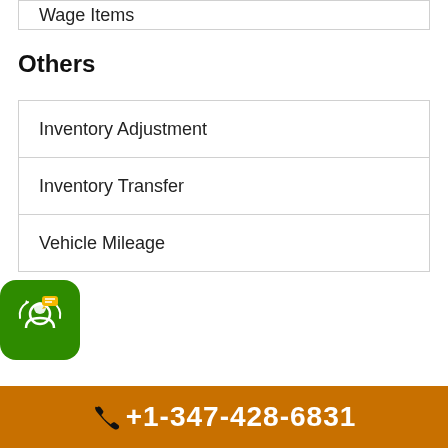Wage Items
Others
| Inventory Adjustment |
| Inventory Transfer |
| Vehicle Mileage |
[Figure (illustration): Green rounded square customer support icon with headset and chat bubbles]
+1-347-428-6831